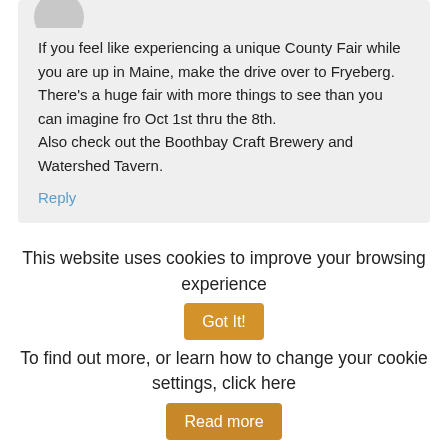If you feel like experiencing a unique County Fair while you are up in Maine, make the drive over to Fryeberg.
There's a huge fair with more things to see than you can imagine fro Oct 1st thru the 8th.
Also check out the Boothbay Craft Brewery and Watershed Tavern.
Reply
Linda Davey says
This website uses cookies to improve your browsing experience  Got It!
To find out more, or learn how to change your cookie settings, click here  Read more